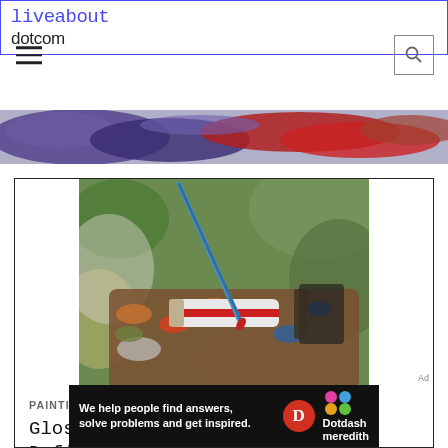liveabout dotcom
[Figure (photo): Abstract close-up of paint smears in purple, red, and warm tones on a surface — banner image]
[Figure (photo): Close-up photograph of a paintbrush dipping into a paint tube on a messy artist's palette with various paint colors and tubes]
PAINTING
Glossary of Art Terms and Definitions: Painting Mediums
[Figure (screenshot): Dotdash Meredith advertisement banner reading: We help people find answers, solve problems and get inspired.]